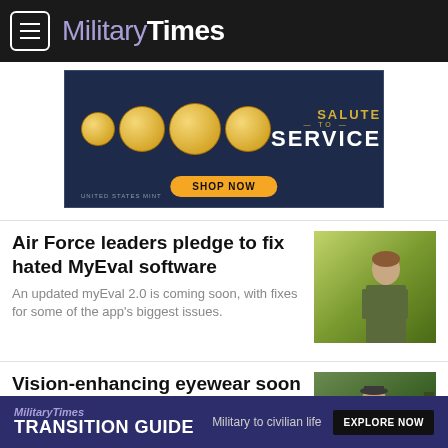MilitaryTimes
[Figure (photo): US Mint advertisement banner with gold coins and 'SALUTE TO SERVICE - SHOP NOW' call to action on dark blue background]
Air Force leaders pledge to fix hated MyEval software
An updated myEval 2.0 is coming soon, with fixes for some of the app's biggest issues.
[Figure (photo): Military officer in camouflage uniform speaking at an event against a yellow-green backdrop]
Vision-enhancing eyewear soon to be readily available at VA hospitals
The high-speed cameras in the eSight
[Figure (photo): Veteran wearing cap outdoors in wooded area]
MilitaryTimes TRANSITION GUIDE - Military to civilian life - EXPLORE NOW